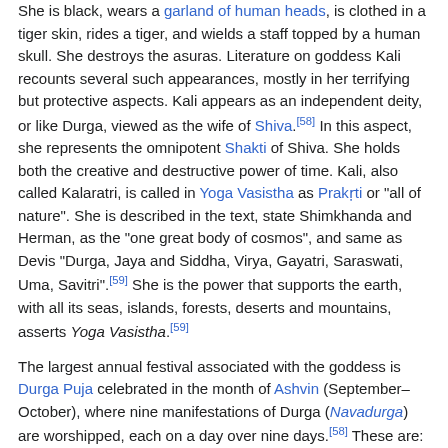She is black, wears a garland of human heads, is clothed in a tiger skin, rides a tiger, and wields a staff topped by a human skull. She destroys the asuras. Literature on goddess Kali recounts several such appearances, mostly in her terrifying but protective aspects. Kali appears as an independent deity, or like Durga, viewed as the wife of Shiva.[58] In this aspect, she represents the omnipotent Shakti of Shiva. She holds both the creative and destructive power of time. Kali, also called Kalaratri, is called in Yoga Vasistha as Prakṛti or "all of nature". She is described in the text, state Shimkhanda and Herman, as the "one great body of cosmos", and same as Devis "Durga, Jaya and Siddha, Virya, Gayatri, Saraswati, Uma, Savitri".[59] She is the power that supports the earth, with all its seas, islands, forests, deserts and mountains, asserts Yoga Vasistha.[59]
The largest annual festival associated with the goddess is Durga Puja celebrated in the month of Ashvin (September–October), where nine manifestations of Durga (Navadurga) are worshipped, each on a day over nine days.[58] These are: Shailaputri, Brahmacharini, Chandraghanta, Skandamata, Katyayani, Kaalratri, Mahagauri, and Siddhidaatri.